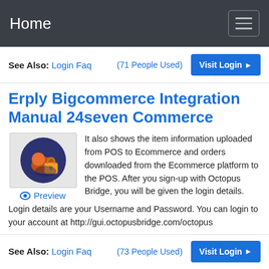Home
See Also: Login Faq (71 People Used) Visit Login
Erply Bigcommerce Integration Manual 24seven Commerce
[Figure (illustration): Icon of a person with a padlock on a dark blue circular background]
Preview
It also shows the item information uploaded from POS to Ecommerce and orders downloaded from the Ecommerce platform to the POS. After you sign-up with Octopus Bridge, you will be given the login details. Login details are your Username and Password. You can login to your account at http://gui.octopusbridge.com/octopus
See Also: Login Faq (73 People Used) Visit Login